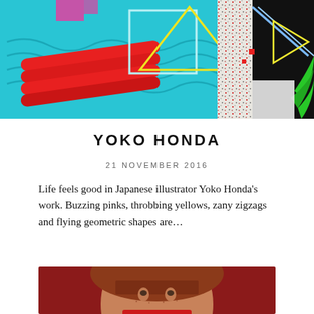[Figure (illustration): Colorful abstract illustration by Yoko Honda featuring red pool noodles on cyan water, geometric shapes, yellow triangle outline, black and white patterned column, and tropical plants on black background]
YOKO HONDA
21 NOVEMBER 2016
Life feels good in Japanese illustrator Yoko Honda's work. Buzzing pinks, throbbing yellows, zany zigzags and flying geometric shapes are…
[Figure (photo): Close-up portrait photo of a young woman with red hair, bangs, and freckles against a dark red background]